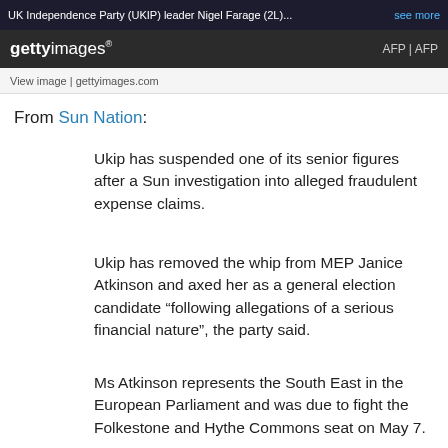UK Independence Party (UKIP) leader Nigel Farage (2L)… see more
[Figure (logo): Getty Images logo bar with AFP | AFP credit]
View image | gettyimages.com
From Sun Nation:
Ukip has suspended one of its senior figures after a Sun investigation into alleged fraudulent expense claims.
Ukip has removed the whip from MEP Janice Atkinson and axed her as a general election candidate “following allegations of a serious financial nature”, the party said.
Ms Atkinson represents the South East in the European Parliament and was due to fight the Folkestone and Hythe Commons seat on May 7.
The Sun secretly filmed a member of her staff apparently plotting to make a substantial bogus expenses claim.